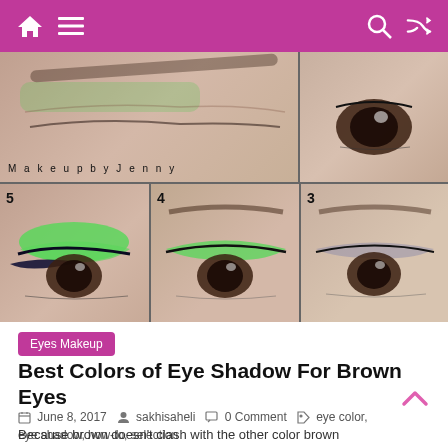Navigation bar with home, menu, search, shuffle icons
[Figure (photo): Makeup tutorial collage showing eye shadow steps numbered 3, 4, 5, with green eye shadow on brown eyes. Watermark reads 'Makeup by Jenny'.]
Eyes Makeup
Best Colors of Eye Shadow For Brown Eyes
June 8, 2017   sakhisaheli   0 Comment   eye color, eye shadow, how-to, selection
Because brown doesn't clash with the other color brown